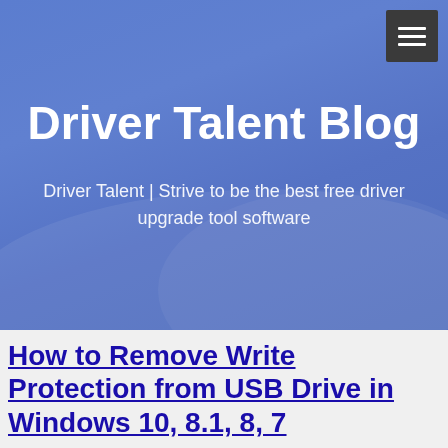[Figure (screenshot): Blue gradient website header banner for Driver Talent Blog with hamburger menu icon in top-right corner]
Driver Talent Blog
Driver Talent | Strive to be the best free driver upgrade tool software
How to Remove Write Protection from USB Drive in Windows 10, 8.1, 8, 7